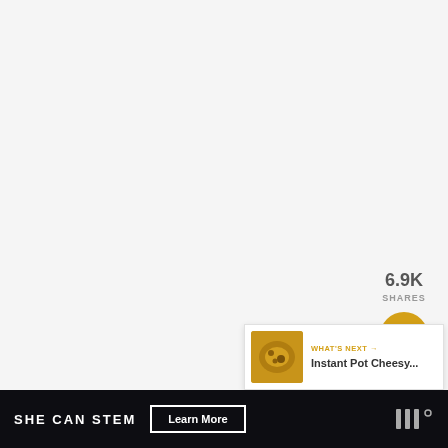[Figure (screenshot): White/light gray main content area (mostly blank/image area)]
6.9K
SHARES
[Figure (infographic): Golden circular Facebook share button with 'f' icon]
[Figure (infographic): Golden circular heart/like button icon]
6.9K
[Figure (infographic): Golden circular share button with share icon and plus]
[Figure (infographic): What's Next promotional box showing Instant Pot Cheesy... with thumbnail image]
WHAT'S NEXT → Instant Pot Cheesy...
SHE CAN STEM   Learn More
[Figure (logo): Brand logo mark on right side of footer bar]